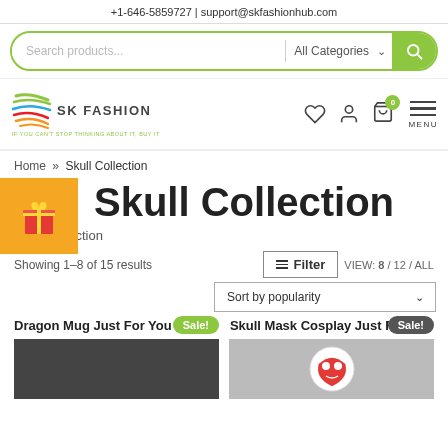+1-646-5859727 | support@skfashionhub.com
[Figure (screenshot): Search bar with 'Search products...' placeholder, 'All Categories' dropdown, and green search button]
[Figure (logo): SK Fashion logo with colorful swoosh graphic and tagline 'IF YOU CAN'T STOP THINKING ABOUT IT, BUY IT']
[Figure (infographic): Navigation icons: heart/wishlist, user account, shopping bag with 0 badge, hamburger menu labeled MENU]
Home » Skull Collection
Skull Collection
Skull Collection
Showing 1–8 of 15 results
≡ Filter  VIEW: 8 / 12 / ALL
Sort by popularity
Dragon Mug Just For You
Skull Mask Cosplay Just For You